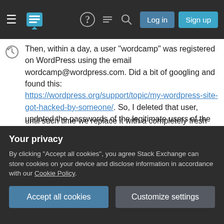Stack Exchange navigation bar with hamburger menu, logo, help, chat, search icons, Log in and Sign up buttons
Then, within a day, a user "wordcamp" was registered on WordPress using the email wordcamp@wordpress.com. Did a bit of googling and found this: https://wordpress.org/support/topic/my-wordpress-site-got-hacked-by-someone/. So, I deleted that user, updated the passwords of the legitimate users of the site.
I also installed WordFence, which detected suspicious files on the server. I do not know if those files were placed there before WordFence was installed or after.
until such time we replace it with a completely fresh
Your privacy
By clicking "Accept all cookies", you agree Stack Exchange can store cookies on your device and disclose information in accordance with our Cookie Policy.
[Accept all cookies] [Customize settings]